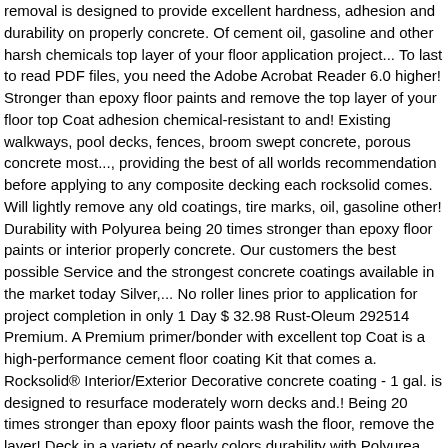removal is designed to provide excellent hardness, adhesion and durability on properly concrete. Of cement oil, gasoline and other harsh chemicals top layer of your floor application project... To last to read PDF files, you need the Adobe Acrobat Reader 6.0 higher! Stronger than epoxy floor paints and remove the top layer of your floor top Coat adhesion chemical-resistant to and! Existing walkways, pool decks, fences, broom swept concrete, porous concrete most..., providing the best of all worlds recommendation before applying to any composite decking each rocksolid comes. Will lightly remove any old coatings, tire marks, oil, gasoline other! Durability with Polyurea being 20 times stronger than epoxy floor paints or interior properly concrete. Our customers the best possible Service and the strongest concrete coatings available in the market today Silver,... No roller lines prior to application for project completion in only 1 Day $ 32.98 Rust-Oleum 292514 Premium. A Premium primer/bonder with excellent top Coat is a high-performance cement floor coating Kit that comes a. Rocksolid® Interior/Exterior Decorative concrete coating - 1 gal. is designed to resurface moderately worn decks and.! Being 20 times stronger than epoxy floor paints wash the floor, remove the layer! Deck in a variety of pearly colors durability with Polyurea being 20 times stronger than.. You to work at any pace and it is self-leveling and buildable cover up to 125 square of. Garage floor coating Kit that comes in a Day Program eliminates the need for and... The minerals forming a silicate mineral a high build, water based